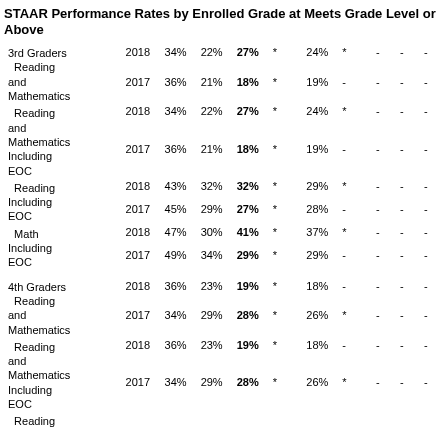STAAR Performance Rates by Enrolled Grade at Meets Grade Level or Above
| Category | Year | Col1 | Col2 | Col3 | Col4 | Col5 | Col6 | Col7 | Col8 | Col9 |
| --- | --- | --- | --- | --- | --- | --- | --- | --- | --- | --- |
| 3rd Graders Reading and Mathematics | 2018 | 34% | 22% | 27% | * | 24% | * | - | - | - |
|  | 2017 | 36% | 21% | 18% | * | 19% | - | - | - | - |
| Reading and Mathematics Including EOC | 2018 | 34% | 22% | 27% | * | 24% | * | - | - | - |
|  | 2017 | 36% | 21% | 18% | * | 19% | - | - | - | - |
| Reading Including EOC | 2018 | 43% | 32% | 32% | * | 29% | * | - | - | - |
|  | 2017 | 45% | 29% | 27% | * | 28% | - | - | - | - |
| Math Including EOC | 2018 | 47% | 30% | 41% | * | 37% | * | - | - | - |
|  | 2017 | 49% | 34% | 29% | * | 29% | - | - | - | - |
| 4th Graders Reading and Mathematics | 2018 | 36% | 23% | 19% | * | 18% | - | - | - | - |
|  | 2017 | 34% | 29% | 28% | * | 26% | * | - | - | - |
| Reading and Mathematics Including EOC | 2018 | 36% | 23% | 19% | * | 18% | - | - | - | - |
|  | 2017 | 34% | 29% | 28% | * | 26% | * | - | - | - |
| Reading |  |  |  |  |  |  |  |  |  |  |